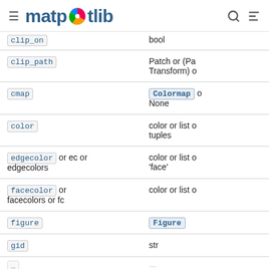matplotlib
| Parameter | Type/Default |
| --- | --- |
| clip_on | bool |
| clip_path | Patch or (Path, Transform) or ... |
| cmap | Colormap or None |
| color | color or list of tuples |
| edgecolor or ec or edgecolors | color or list of ... 'face' |
| facecolor or facecolors or fc | color or list of ... |
| figure | Figure |
| gid | str |